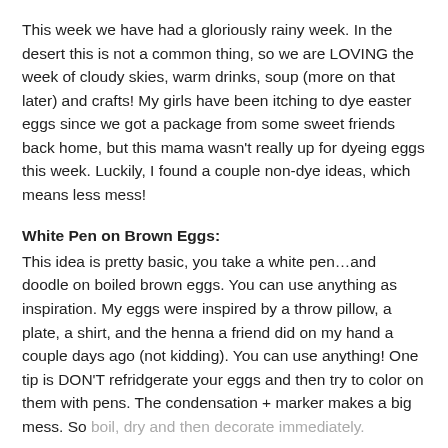This week we have had a gloriously rainy week. In the desert this is not a common thing, so we are LOVING the week of cloudy skies, warm drinks, soup (more on that later) and crafts! My girls have been itching to dye easter eggs since we got a package from some sweet friends back home, but this mama wasn't really up for dyeing eggs this week. Luckily, I found a couple non-dye ideas, which means less mess!
White Pen on Brown Eggs:
This idea is pretty basic, you take a white pen…and doodle on boiled brown eggs. You can use anything as inspiration. My eggs were inspired by a throw pillow, a plate, a shirt, and the henna a friend did on my hand a couple days ago (not kidding). You can use anything! One tip is DON'T refridgerate your eggs and then try to color on them with pens. The condensation + marker makes a big mess. So boil, dry and then decorate immediately.